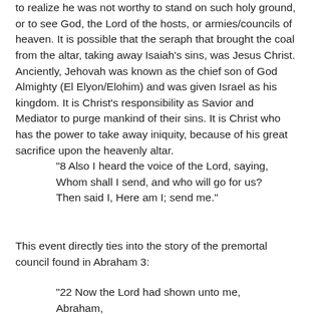to realize he was not worthy to stand on such holy ground, or to see God, the Lord of the hosts, or armies/councils of heaven. It is possible that the seraph that brought the coal from the altar, taking away Isaiah’s sins, was Jesus Christ. Anciently, Jehovah was known as the chief son of God Almighty (El Elyon/Elohim) and was given Israel as his kingdom. It is Christ’s responsibility as Savior and Mediator to purge mankind of their sins. It is Christ who has the power to take away iniquity, because of his great sacrifice upon the heavenly altar.
“8 Also I heard the voice of the Lord, saying, Whom shall I send, and who will go for us? Then said I, Here am I; send me.”
This event directly ties into the story of the premortal council found in Abraham 3:
“22 Now the Lord had shown unto me, Abraham,